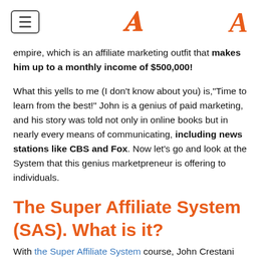[hamburger menu icon] [logo A]
empire, which is an affiliate marketing outfit that makes him up to a monthly income of $500,000!
What this yells to me (I don't know about you) is,"Time to learn from the best!" John is a genius of paid marketing, and his story was told not only in online books but in nearly every means of communicating, including news stations like CBS and Fox. Now let's go and look at the System that this genius marketpreneur is offering to individuals.
The Super Affiliate System (SAS). What is it?
With the Super Affiliate System course, John Crestani